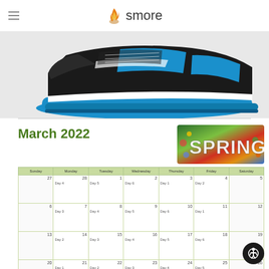smore
[Figure (photo): Close-up photo of a black and blue athletic sneaker/basketball shoe, showing the sole and side profile against a white background.]
March 2022
[Figure (illustration): Decorative 'SPRING' text image with colorful floral and nature photography composited into the letters.]
| Sunday | Monday | Tuesday | Wednesday | Thursday | Friday | Saturday |
| --- | --- | --- | --- | --- | --- | --- |
| 27 | 28
Day 4 | 1
Day 5 | 2
Day 6 | 3
Day 1 | 4
Day 2 | 5 |
| 6 | 7
Day 3 | 8
Day 4 | 9
Day 5 | 10
Day 6 | 11
Day 1 | 12 |
| 13 | 14
Day 2 | 15
Day 3 | 16
Day 4 | 17
Day 5 | 18
Day 6 | 19 |
| 20 | 21
Day 1 | 22
Day 2 | 23
Day 3 | 24
Day 4 | 25
Day 5 | 26 |
| 27
Day 6 | 28
Day 6 | 29
Day 1
NYS ELA Assessments, Gr 3-4 | 30
Day 2
NYS ELA Assessments, Gr 5-6 | 31
Day 3
NYS ELA Assessments, Gr 3-6 | 1
Day 4 |  |